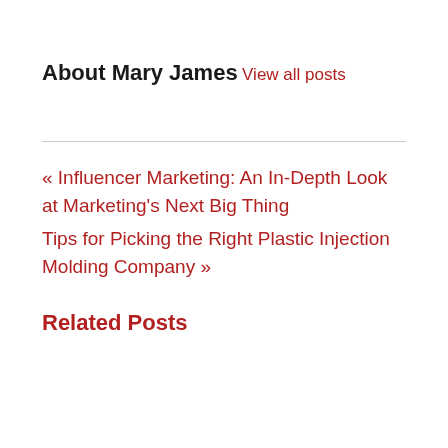About Mary James
View all posts
« Influencer Marketing: An In-Depth Look at Marketing's Next Big Thing
Tips for Picking the Right Plastic Injection Molding Company »
Related Posts